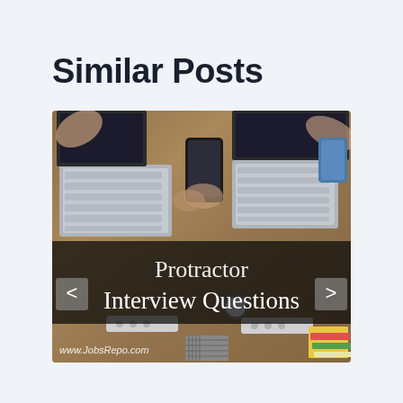Similar Posts
[Figure (photo): Overhead/bird's-eye view of people working at a desk with laptops, keyboards, a smartphone, a watch, notebooks, and office supplies. A dark semi-transparent overlay banner in the lower half of the image displays the text 'Protractor Interview Questions'. Navigation arrows are visible on the left and right sides. A watermark reads 'www.JobsRepo.com' at the bottom left.]